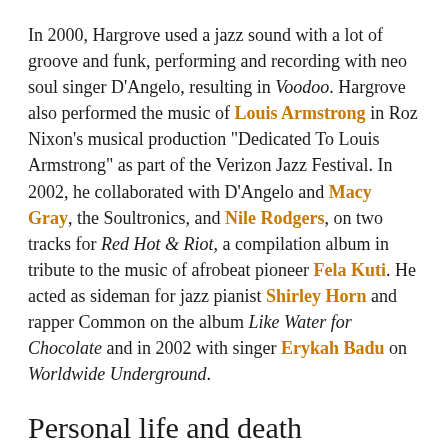In 2000, Hargrove used a jazz sound with a lot of groove and funk, performing and recording with neo soul singer D'Angelo, resulting in Voodoo. Hargrove also performed the music of Louis Armstrong in Roz Nixon's musical production "Dedicated To Louis Armstrong" as part of the Verizon Jazz Festival. In 2002, he collaborated with D'Angelo and Macy Gray, the Soultronics, and Nile Rodgers, on two tracks for Red Hot & Riot, a compilation album in tribute to the music of afrobeat pioneer Fela Kuti. He acted as sideman for jazz pianist Shirley Horn and rapper Common on the album Like Water for Chocolate and in 2002 with singer Erykah Badu on Worldwide Underground.
Personal life and death
A quiet and retiring person in life, Hargrove struggled with kidney failure.[5] He died of cardiac arrest brought on by kidney disease on November 2, 2018 at Mount Sinai Hospital in New York City. According to his manager, Larry